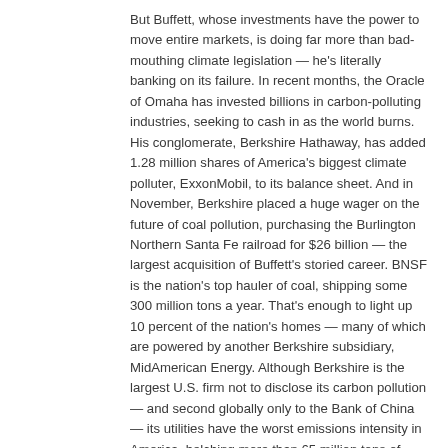But Buffett, whose investments have the power to move entire markets, is doing far more than bad-mouthing climate legislation — he's literally banking on its failure. In recent months, the Oracle of Omaha has invested billions in carbon-polluting industries, seeking to cash in as the world burns. His conglomerate, Berkshire Hathaway, has added 1.28 million shares of America's biggest climate polluter, ExxonMobil, to its balance sheet. And in November, Berkshire placed a huge wager on the future of coal pollution, purchasing the Burlington Northern Santa Fe railroad for $26 billion — the largest acquisition of Buffett's storied career. BNSF is the nation's top hauler of coal, shipping some 300 million tons a year. That's enough to light up 10 percent of the nation's homes — many of which are powered by another Berkshire subsidiary, MidAmerican Energy. Although Berkshire is the largest U.S. firm not to disclose its carbon pollution — and second globally only to the Bank of China — its utilities have the worst emissions intensity in America, belching more than 65 million tons of CO₂ into the atmosphere in 2008 alone.